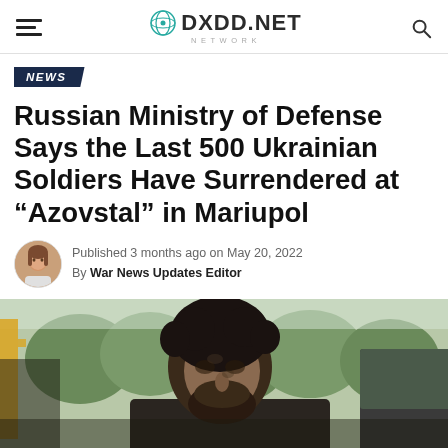DXDD.NET NETWORK
NEWS
Russian Ministry of Defense Says the Last 500 Ukrainian Soldiers Have Surrendered at “Azovstal” in Mariupol
Published 3 months ago on May 20, 2022
By War News Updates Editor
[Figure (photo): A bearded, disheveled man with dark curly hair, appearing exhausted and dirty, with an outdoor background showing green trees and a yellow structure.]